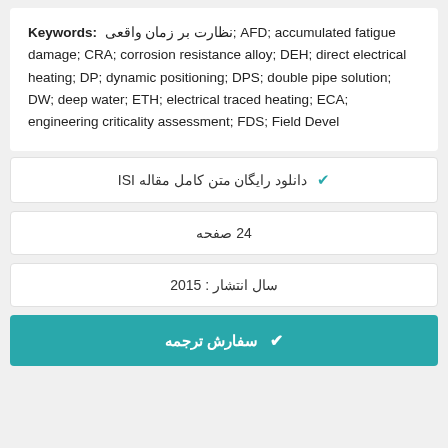Keywords: نظارت بر زمان واقعی; AFD; accumulated fatigue damage; CRA; corrosion resistance alloy; DEH; direct electrical heating; DP; dynamic positioning; DPS; double pipe solution; DW; deep water; ETH; electrical traced heating; ECA; engineering criticality assessment; FDS; Field Devel
✔ دانلود رایگان متن کامل مقاله ISI
24 صفحه
سال انتشار : 2015
✔ سفارش ترجمه